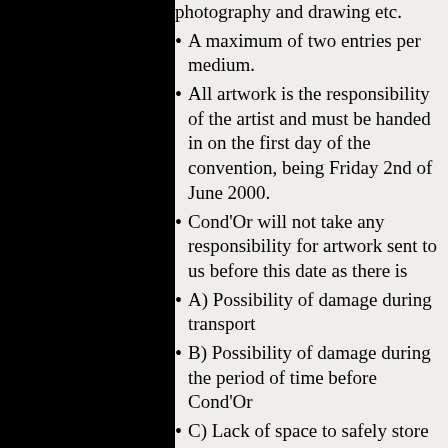photography and drawing etc.
A maximum of two entries per medium.
All artwork is the responsibility of the artist and must be handed in on the first day of the convention, being Friday 2nd of June 2000.
Cond'Or will not take any responsibility for artwork sent to us before this date as there is
A) Possibility of damage during transport
B) Possibility of damage during the period of time before Cond'Or
C) Lack of space to safely store artwork
All artwork will be on display at the convention and attendees will have the chance to vote on the piece they think is best, the winner of which will win a People's Choice award.
A panel will judge the artwork and the judge's decisions are